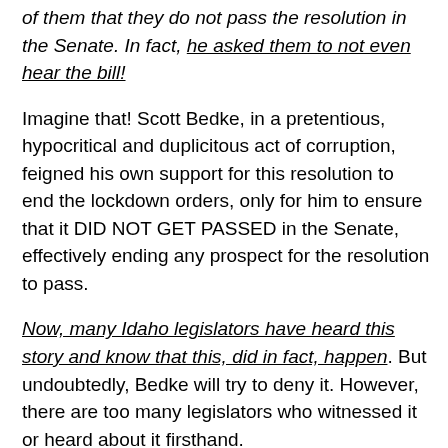of them that they do not pass the resolution in the Senate. In fact, he asked them to not even hear the bill!
Imagine that! Scott Bedke, in a pretentious, hypocritical and duplicitous act of corruption, feigned his own support for this resolution to end the lockdown orders, only for him to ensure that it DID NOT GET PASSED in the Senate, effectively ending any prospect for the resolution to pass.
Now, many Idaho legislators have heard this story and know that this, did in fact, happen. But undoubtedly, Bedke will try to deny it. However, there are too many legislators who witnessed it or heard about it firsthand.
If Bedke does try to deny it however, we are fortunate to have received a recording of Senator Fred Martin admitting to an Idaho voter that Scott Bedke did this